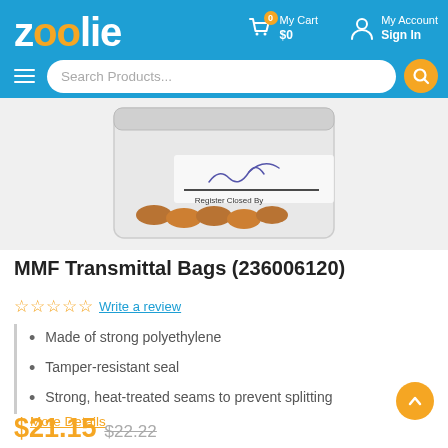zoolie — My Cart $0 | My Account Sign In
[Figure (screenshot): Product photo of MMF Transmittal Bag — clear polyethylene bag containing coins, with a signature line labeled 'Register Closed By']
MMF Transmittal Bags (236006120)
☆☆☆☆☆ Write a review
Made of strong polyethylene
Tamper-resistant seal
Strong, heat-treated seams to prevent splitting
More Details
$21.15  $22.22